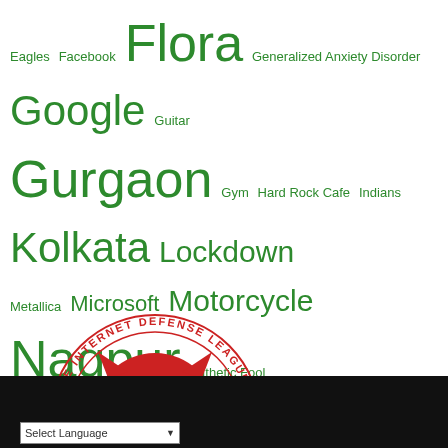[Figure (infographic): Tag cloud with green text of various sizes showing topics: Eagles, Facebook, Flora, Generalized Anxiety Disorder, Google, Guitar, Gurgaon, Gym, Hard Rock Cafe, Indians, Kolkata, Lockdown, Metallica, Microsoft, Motorcycle, Nagpur, Pathetic Fool, Pink Floyd, Purchases, Rain, Review, Rocky, Royal Enfield, Sleep, Sood Sahib, Studies, Thailand, Think Floyd, Thunderbird, Vodka]
[Figure (logo): The Internet Defense League - Proud Member badge: circular red badge with cat face graphic]
Select Language